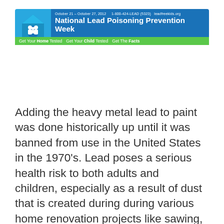[Figure (logo): National Lead Poisoning Prevention Week banner for October 21 - October 27, 2012. Features LeadFreeKids logo with house icon on blue background, title text on dark blue, and green stripe at bottom reading: Get Your Home Tested  Get Your Child Tested  Get The Facts. Contact: 1-800-424-LEAD (5323)  leadfreekids.org]
Adding the heavy metal lead to paint was done historically up until it was banned from use in the United States in the 1970's. Lead poses a serious health risk to both adults and children, especially as a result of dust that is created during during various home renovation projects like sawing, grinding, scraping, and sanding of